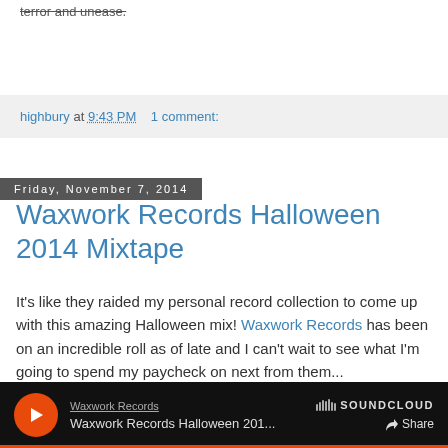terror and unease.
highbury at 9:43 PM   1 comment:
Friday, November 7, 2014
Waxwork Records Halloween 2014 Mixtape
It's like they raided my personal record collection to come up with this amazing Halloween mix! Waxwork Records has been on an incredible roll as of late and I can't wait to see what I'm going to spend my paycheck on next from them...
[Figure (screenshot): SoundCloud embedded player with dark background showing Waxwork Records artist and track 'Waxwork Records Halloween 201...' with play button, share button, and SoundCloud logo]